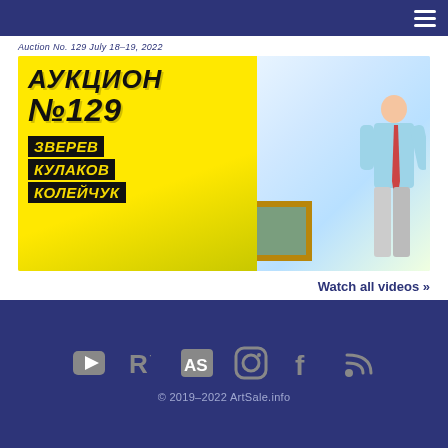ArtSale.info navigation bar
Auction No. 129 July 18-19, 2022
[Figure (screenshot): Thumbnail image of Auction No. 129 (АУКЦИОН №129) featuring artists ЗВЕРЕВ, КУЛАКОВ, КОЛЕЙЧУК, with a person standing next to a framed painting on a yellow and colorful background]
Watch all videos »
© 2019–2022 ArtSale.info